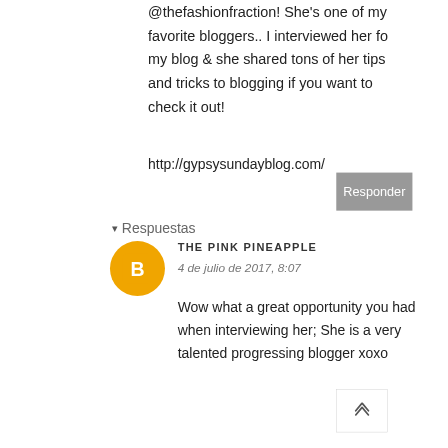@thefashionfraction! She's one of my favorite bloggers.. I interviewed her fo my blog & she shared tons of her tips and tricks to blogging if you want to check it out!
http://gypsysundayblog.com/
Responder
▾ Respuestas
[Figure (logo): Orange circular Blogger avatar icon with white 'B' letter]
THE PINK PINEAPPLE
4 de julio de 2017, 8:07
Wow what a great opportunity you had when interviewing her; She is a very talented progressing blogger xoxo